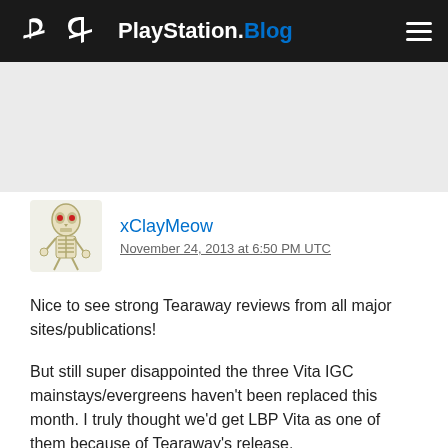PlayStation.Blog
[Figure (screenshot): Gray banner/advertisement area]
xClayMeow
November 24, 2013 at 6:50 PM UTC
Nice to see strong Tearaway reviews from all major sites/publications!

But still super disappointed the three Vita IGC mainstays/evergreens haven't been replaced this month. I truly thought we'd get LBP Vita as one of them because of Tearaway's release.